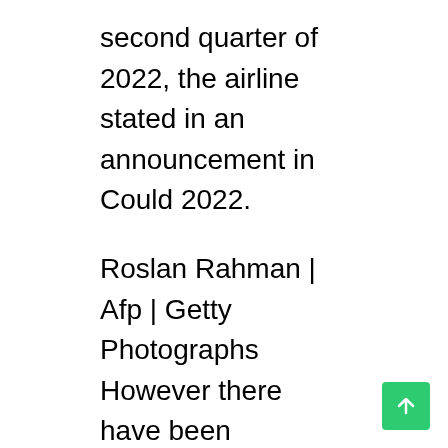second quarter of 2022, the airline stated in an announcement in Could 2022.
Roslan Rahman | Afp | Getty Photographs However there have been indicators of cracks. In April, Changi Airport Group needed to retime some flights over a four-day lengthy weekend due to a staffing scarcity, based on native media experiences.
Malaysian media reported that about 1 in 10 home flights that flew throughout the Hari Raya Aidilfitri celebratory interval in late April and early Could had been